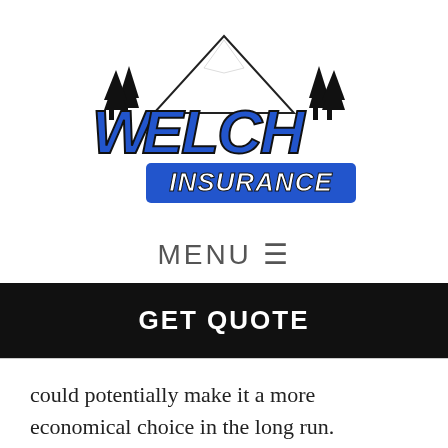[Figure (logo): Welch Insurance logo featuring stylized blue and black lettering reading 'Welch Insurance' with mountain peaks and pine trees in the background]
MENU ☰
GET QUOTE
could potentially make it a more economical choice in the long run.